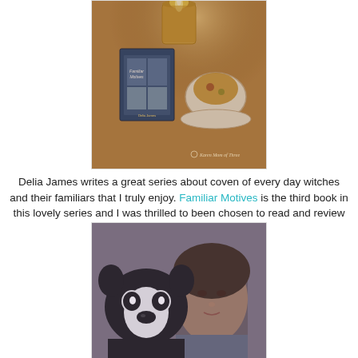[Figure (photo): Photo of a book titled 'Familiar Motives' by Delia James propped up on a fur-textured surface next to a lit candle and a floral teacup with tea. A watermark reads 'Karen Mom of Three'.]
Delia James writes a great series about coven of every day witches and their familiars that I truly enjoy. Familiar Motives is the third book in this lovely series and I was thrilled to been chosen to read and review it.
[Figure (photo): Selfie photo of a woman with dark hair next to a black and white cat/dog (appears to be a Boston Terrier or similar breed), both looking at the camera.]